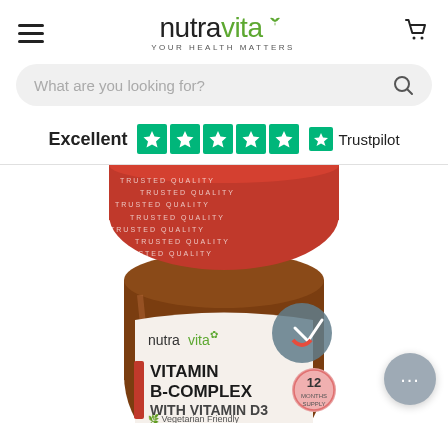nutravita YOUR HEALTH MATTERS
What are you looking for?
Excellent ★★★★★ Trustpilot
[Figure (photo): A bottle of Nutravita Vitamin B-Complex with Vitamin D3 supplement. The bottle has a red cap labeled TRUSTED QUALITY and shows the nutravita logo. The product label reads VITAMIN B-COMPLEX WITH VITAMIN D3, 12 MONTHS SUPPLY, Vegetarian Friendly. There is a certified badge on the bottle.]